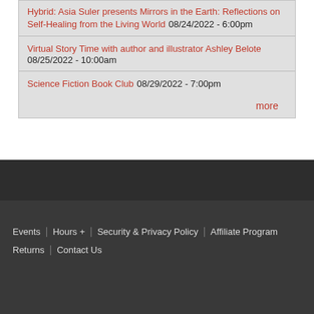Hybrid: Asia Suler presents Mirrors in the Earth: Reflections on Self-Healing from the Living World 08/24/2022 - 6:00pm
Virtual Story Time with author and illustrator Ashley Belote 08/25/2022 - 10:00am
Science Fiction Book Club 08/29/2022 - 7:00pm
more
Events | Hours + | Security & Privacy Policy | Affiliate Program | Returns | Contact Us